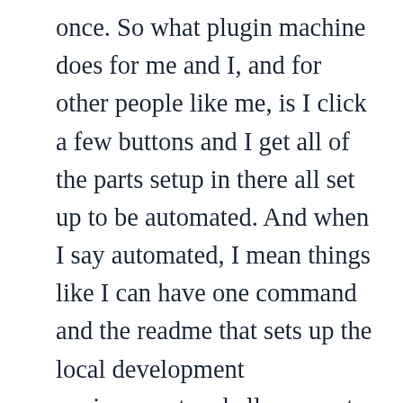once. So what plugin machine does for me and I, and for other people like me, is I click a few buttons and I get all of the parts setup in there all set up to be automated. And when I say automated, I mean things like I can have one command and the readme that sets up the local development environment and allows me to see it in the browser and run tests that I have GitHub actions that every time a change is made, that test is in different...